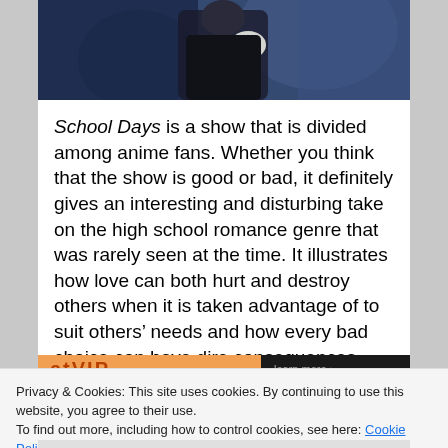[Figure (illustration): Anime scene showing dark-clad character against a blue-grey background, partial view]
School Days is a show that is divided among anime fans. Whether you think that the show is good or bad, it definitely gives an interesting and disturbing take on the high school romance genre that was rarely seen at the time. It illustrates how love can both hurt and destroy others when it is taken advantage of to suit others' needs and how every bad choice can have dire consequences.
[Figure (other): Partially visible advertisement banner with orange/black color scheme]
Privacy & Cookies: This site uses cookies. By continuing to use this website, you agree to their use.
To find out more, including how to control cookies, see here: Cookie Policy
Close and accept